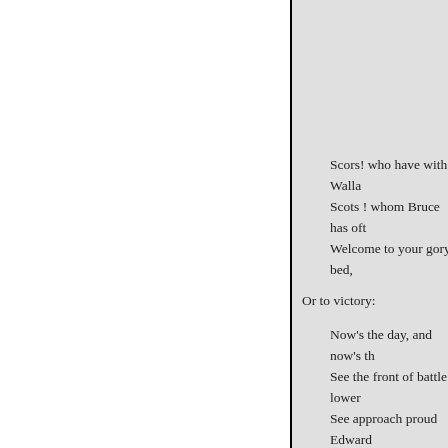Scors! who have with Wallace bled,
Scots ! whom Bruce has oft led,
Welcome to your gory bed,
Or to victory:
Now's the day, and now's th...
See the front of battle lower...
See approach proud Edward...
Chains and slavery!
Who will be a traitor knave
Who can fill a coward's gra
Who so base as be a slave ?
Let him turn and flee !
Who for Scotland's king an
Freedom's sword will stron